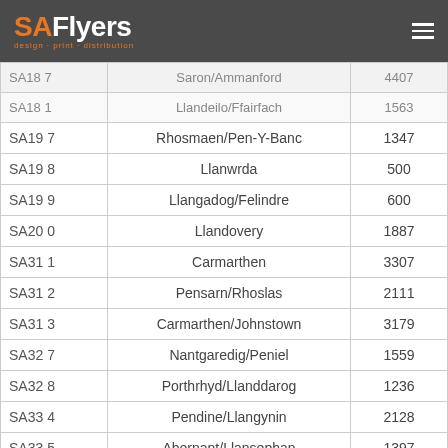SAFlyers - design · print · distribution
| Code | Area | Count |
| --- | --- | --- |
| SA18 7 | Saron/Ammanford | 4407 |
| SA18 1 | Llandeilo/Ffairfach | 1563 |
| SA19 7 | Rhosmaen/Pen-Y-Banc | 1347 |
| SA19 8 | Llanwrda | 500 |
| SA19 9 | Llangadog/Felindre | 600 |
| SA20 0 | Llandovery | 1887 |
| SA31 1 | Carmarthen | 3307 |
| SA31 2 | Pensarn/Rhoslas | 2111 |
| SA31 3 | Carmarthen/Johnstown | 3179 |
| SA32 7 | Nantgaredig/Peniel | 1559 |
| SA32 8 | Porthrhyd/Llanddarog | 1236 |
| SA33 4 | Pendine/Llangynin | 2128 |
| SA33 5 | Abernant/Llansephan | 1397 |
| SA33 6 | Bronwydd Arms/Dinas | 1369 |
| SA34 0 | Red Roses/Glandwr | 1799 |
| SA35 0 | Star/Tegryn | 300 |
| SA36 0 | Clears/... | 150 |